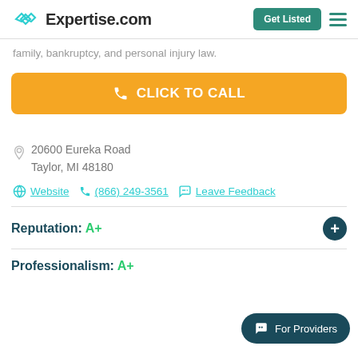Expertise.com
family, bankruptcy, and personal injury law.
CLICK TO CALL
20600 Eureka Road
Taylor, MI 48180
Website  (866) 249-3561  Leave Feedback
Reputation: A+
Professionalism: A+